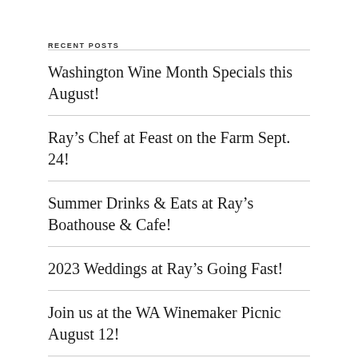RECENT POSTS
Washington Wine Month Specials this August!
Ray's Chef at Feast on the Farm Sept. 24!
Summer Drinks & Eats at Ray's Boathouse & Cafe!
2023 Weddings at Ray's Going Fast!
Join us at the WA Winemaker Picnic August 12!